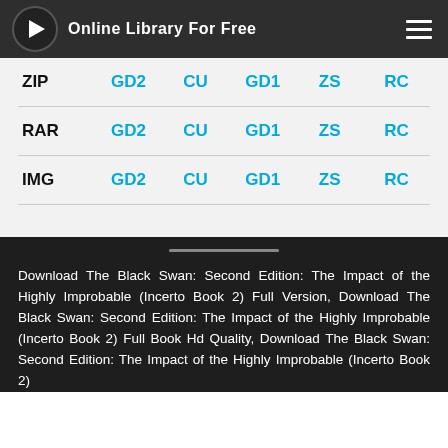Online Library For Free
| Format | GD2 | CU | GD1 | ZS | RC |
| --- | --- | --- | --- | --- | --- |
| ZIP | GD2 | CU | GD1 | ZS | RC |
| RAR | GD2 | CU | GD1 | ZS | RC |
| IMG | GD2 | CU | GD1 | ZS | RC |
Download The Black Swan: Second Edition: The Impact of the Highly Improbable (Incerto Book 2) Full Version, Download The Black Swan: Second Edition: The Impact of the Highly Improbable (Incerto Book 2) Full Book Hd Quality, Download The Black Swan: Second Edition: The Impact of the Highly Improbable (Incerto Book 2)